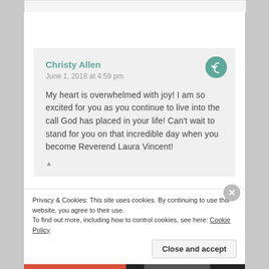Christy Allen
June 1, 2018 at 4:59 pm
My heart is overwhelmed with joy! I am so excited for you as you continue to live into the call God has placed in your life! Can't wait to stand for you on that incredible day when you become Reverend Laura Vincent!
Privacy & Cookies: This site uses cookies. By continuing to use this website, you agree to their use.
To find out more, including how to control cookies, see here: Cookie Policy
Close and accept